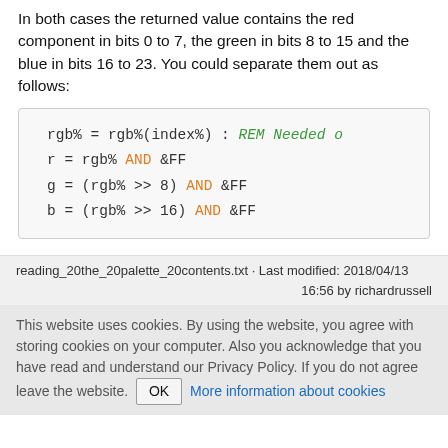In both cases the returned value contains the red component in bits 0 to 7, the green in bits 8 to 15 and the blue in bits 16 to 23. You could separate them out as follows:
rgb% = rgb%(index%) : REM Needed o
r = rgb% AND &FF
g = (rgb% >> 8) AND &FF
b = (rgb% >> 16) AND &FF
reading_20the_20palette_20contents.txt · Last modified: 2018/04/13 16:56 by richardrussell
This website uses cookies. By using the website, you agree with storing cookies on your computer. Also you acknowledge that you have read and understand our Privacy Policy. If you do not agree leave the website. OK More information about cookies